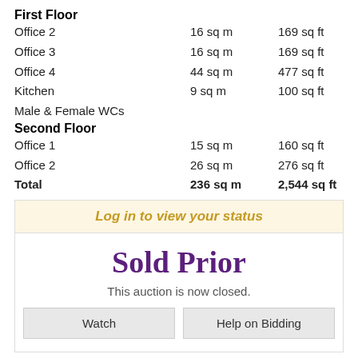First Floor
| Room | sq m | sq ft |
| --- | --- | --- |
| Office 2 | 16 sq m | 169 sq ft |
| Office 3 | 16 sq m | 169 sq ft |
| Office 4 | 44 sq m | 477 sq ft |
| Kitchen | 9 sq m | 100 sq ft |
| Male & Female WCs |  |  |
Second Floor
| Room | sq m | sq ft |
| --- | --- | --- |
| Office 1 | 15 sq m | 160 sq ft |
| Office 2 | 26 sq m | 276 sq ft |
| Total | 236 sq m | 2,544 sq ft |
Log in to view your status
Sold Prior
This auction is now closed.
Watch
Help on Bidding
SECURITY DEPOSIT
BUYER'S ADMINISTRATION FEE
£5,000
£780